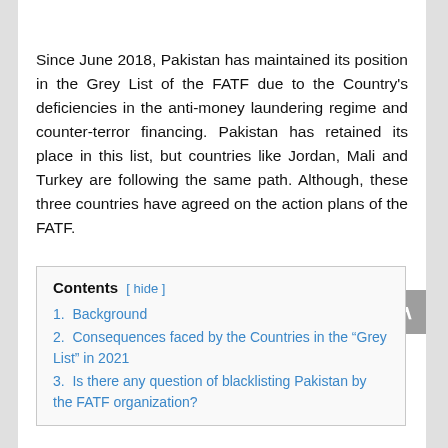Since June 2018, Pakistan has maintained its position in the Grey List of the FATF due to the Country's deficiencies in the anti-money laundering regime and counter-terror financing. Pakistan has retained its place in this list, but countries like Jordan, Mali and Turkey are following the same path. Although, these three countries have agreed on the action plans of the FATF.
Contents [ hide ]
1. Background
2. Consequences faced by the Countries in the “Grey List” in 2021
3. Is there any question of blacklisting Pakistan by the FATF organization?